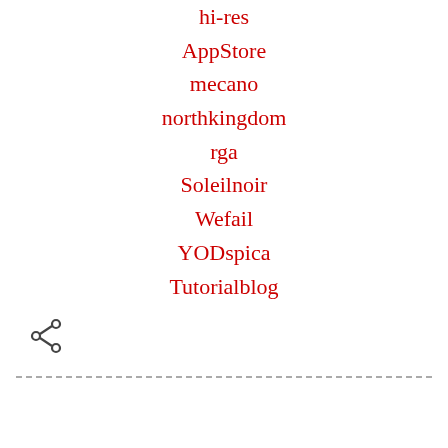hi-res
AppStore
mecano
northkingdom
rga
Soleilnoir
Wefail
YODspica
Tutorialblog